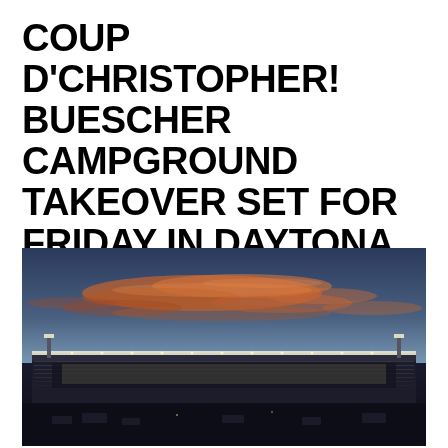COUP D'CHRISTOPHER! BUESCHER CAMPGROUND TAKEOVER SET FOR FRIDAY IN DAYTONA
[Figure (photo): Night/dusk photo of Daytona International Speedway grandstands with dramatic sunset sky showing orange and pink clouds above the illuminated stadium structure]